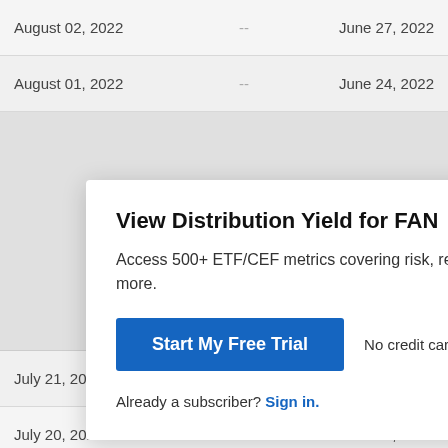| Date |  | Date |
| --- | --- | --- |
| August 02, 2022 | -- | June 27, 2022 |
| August 01, 2022 | -- | June 24, 2022 |
| July 21, 2022 | -- | June 14, 2022 |
| July 20, 2022 | -- | June 13, 2022 |
| July 19, 2022 | -- | June 10, 2022 |
View Distribution Yield for FAN
Access 500+ ETF/CEF metrics covering risk, returns, ex discounts/premiums to NAV and more.
Start My Free Trial   No credit card required.
Already a subscriber? Sign in.